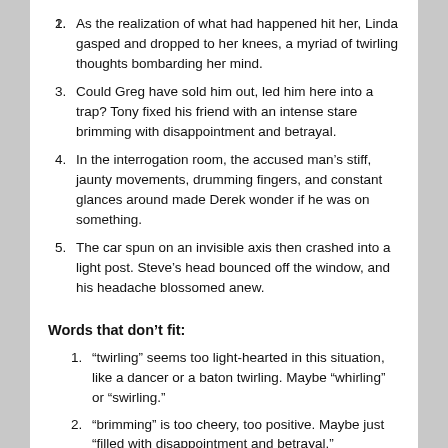As the realization of what had happened hit her, Linda gasped and dropped to her knees, a myriad of twirling thoughts bombarding her mind.
Could Greg have sold him out, led him here into a trap? Tony fixed his friend with an intense stare brimming with disappointment and betrayal.
In the interrogation room, the accused man’s stiff, jaunty movements, drumming fingers, and constant glances around made Derek wonder if he was on something.
The car spun on an invisible axis then crashed into a light post. Steve’s head bounced off the window, and his headache blossomed anew.
Words that don’t fit:
“twirling” seems too light-hearted in this situation, like a dancer or a baton twirling. Maybe “whirling” or “swirling.”
“brimming” is too cheery, too positive. Maybe just “filled with disappointment and betrayal.”